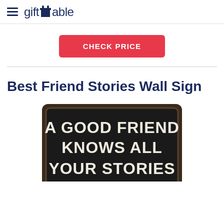giftTable
CHECK PRICE
Best Friend Stories Wall Sign
[Figure (photo): A dark wooden wall sign with white text reading 'A GOOD FRIEND KNOWS ALL YOUR STORIES', shown with a rustic black painted finish and rounded corners.]